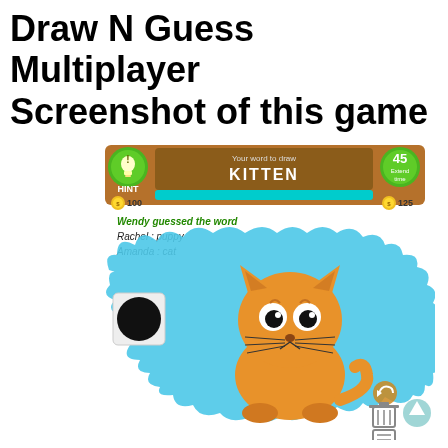Draw N Guess Multiplayer Screenshot of this game
[Figure (screenshot): Screenshot of the Draw N Guess Multiplayer mobile game showing a drawing of a kitten on a blue background. The game UI shows: HINT button (100 coins), the word 'KITTEN' to draw, a 45-second timer with Extend time option (125 coins), a cyan progress bar, and chat messages: 'Wendy guessed the word', 'Rachel : puppy', 'Amanda : cat'. A drawn cartoon kitten in orange/tan colors is visible on a blue scribbled background. A black circle (color picker) is shown at left. Bottom-right shows undo, trash, and list icons plus an up-arrow button.]